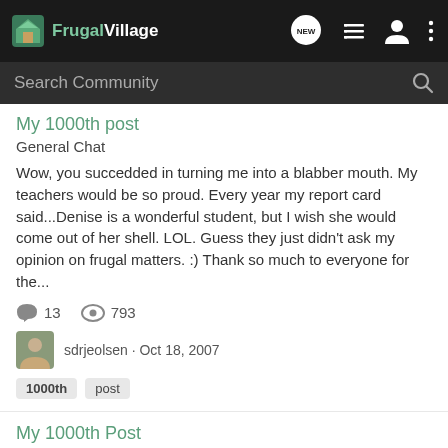FrugalVillage navigation bar with logo, NEW button, list icon, user icon, and more options icon
Search Community
My 1000th post
General Chat
Wow, you succedded in turning me into a blabber mouth. My teachers would be so proud. Every year my report card said...Denise is a wonderful student, but I wish she would come out of her shell. LOL. Guess they just didn't ask my opinion on frugal matters. :) Thank so much to everyone for the...
13 comments · 793 views
sdrjeolsen · Oct 18, 2007
1000th  post
My 1000th Post